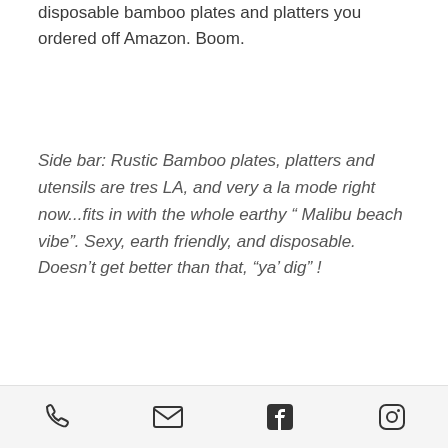disposable bamboo plates and platters you ordered off Amazon. Boom.
Side bar: Rustic Bamboo plates, platters and utensils are tres LA, and very a la mode right now...fits in with the whole earthy “ Malibu beach vibe”. Sexy, earth friendly, and disposable. Doesn’t get better than that, “ya’ dig” !
Let’s begin:
1. Theme: Oscar Party, of course, it’s just around the corner, after all. An Oscar bash can range from an intimate gathering of your friends in your cool WeHo pad, overlooking Sunset Plaza; or a
phone | email | facebook | instagram